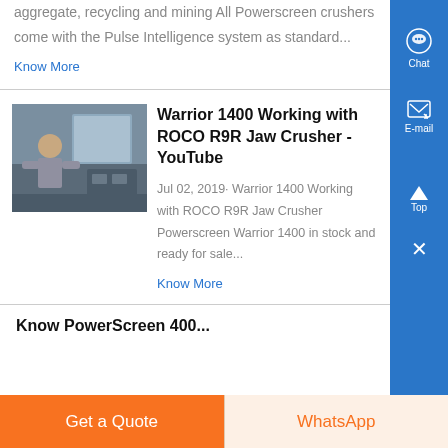aggregate, recycling and mining All Powerscreen crushers come with the Pulse Intelligence system as standard...
Know More
Warrior 1400 Working with ROCO R9R Jaw Crusher - YouTube
[Figure (photo): Thumbnail image of a man sitting near machinery, related to Warrior 1400 and ROCO R9R Jaw Crusher YouTube video]
Jul 02, 2019· Warrior 1400 Working with ROCO R9R Jaw Crusher Powerscreen Warrior 1400 in stock and ready for sale...
Know More
Know PowerScreen 400...
Get a Quote
WhatsApp